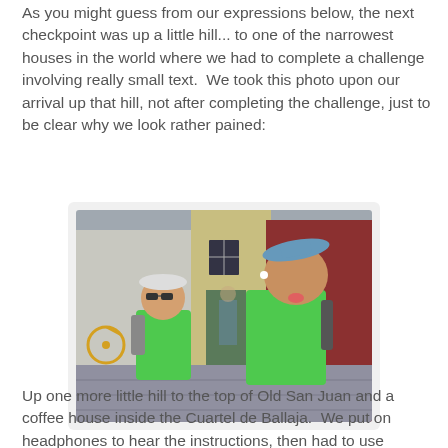As you might guess from our expressions below, the next checkpoint was up a little hill... to one of the narrowest houses in the world where we had to complete a challenge involving really small text.  We took this photo upon our arrival up that hill, not after completing the challenge, just to be clear why we look rather pained:
[Figure (photo): Two people in bright green shirts standing in front of colorful buildings in Old San Juan. One person on the right is sticking out their tongue and wearing a cap tilted up, another on the left is wearing sunglasses. Background shows yellow and red building facades with a bicycle visible.]
Up one more little hill to the top of Old San Juan and a coffee house inside the Cuartel de Ballaja.  We put on headphones to hear the instructions, then had to use chopsticks to put 40 coffee beans in the cup in a certain (short) amount of time.